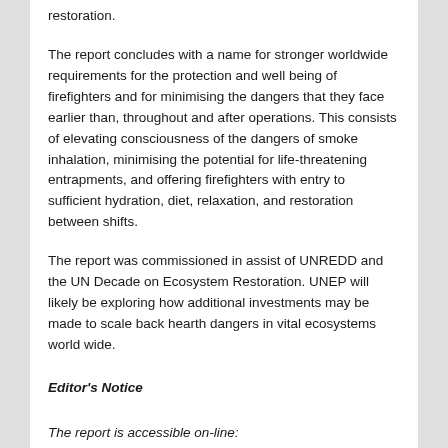restoration.
The report concludes with a name for stronger worldwide requirements for the protection and well being of firefighters and for minimising the dangers that they face earlier than, throughout and after operations. This consists of elevating consciousness of the dangers of smoke inhalation, minimising the potential for life-threatening entrapments, and offering firefighters with entry to sufficient hydration, diet, relaxation, and restoration between shifts.
The report was commissioned in assist of UNREDD and the UN Decade on Ecosystem Restoration. UNEP will likely be exploring how additional investments may be made to scale back hearth dangers in vital ecosystems world wide.
Editor's Notice
The report is accessible on-line: